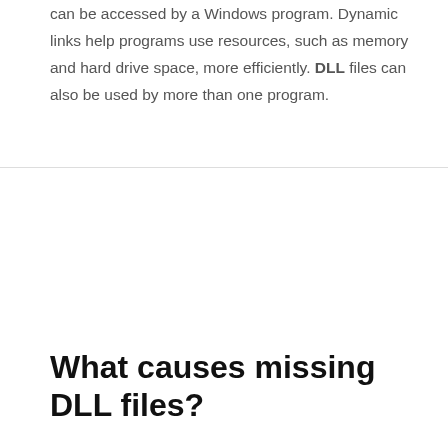can be accessed by a Windows program. Dynamic links help programs use resources, such as memory and hard drive space, more efficiently. DLL files can also be used by more than one program.
What causes missing DLL files?
The reasons for DLL error may be various, but the main reasons are as follows:
Overwriting DLL file. A recently software installation may accidently overwrite a current DLL file with an incompatible or invalid DLL file.
Malware Infection.
DLL file is corrupted or crashed.